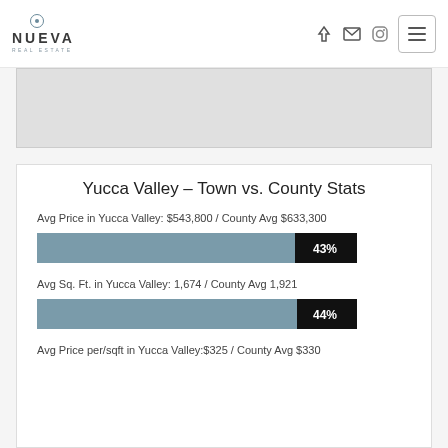[Figure (logo): Nueva Real Estate logo with circular icon above text]
[Figure (other): Navigation icons (login, email, instagram) and hamburger menu button]
[Figure (other): Gray map or image placeholder area]
Yucca Valley - Town vs. County Stats
Avg Price in Yucca Valley: $543,800 / County Avg $633,300
[Figure (bar-chart): Avg Price percentage bar]
Avg Sq. Ft. in Yucca Valley: 1,674 / County Avg 1,921
[Figure (bar-chart): Avg Sq Ft percentage bar]
Avg Price per/sqft in Yucca Valley: $325 / County Avg $330